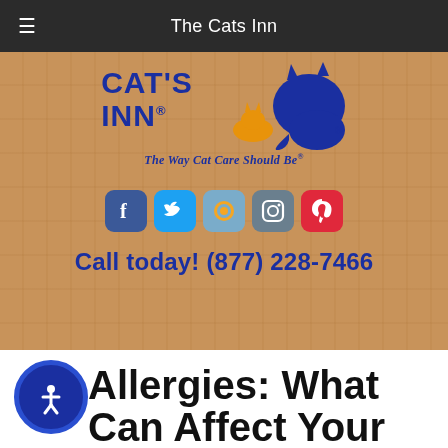The Cats Inn
[Figure (logo): Cat's Inn logo with blue cat silhouette, orange small cat, text CAT'S INN and tagline 'The Way Cat Care Should Be', social media icons for Facebook, Twitter, Blogger, Instagram, Pinterest, and call-to-action text 'Call today! (877) 228-7466' on a wood-grain background]
Allergies: What Can Affect Your Cat?